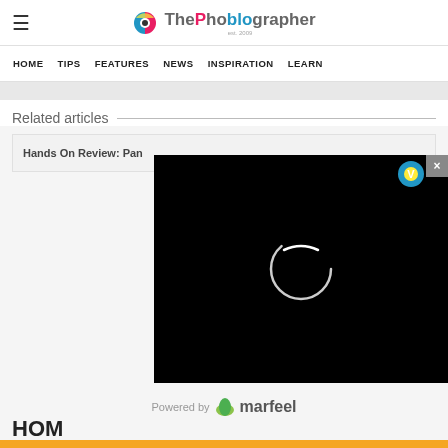ThePhoblographer
HOME TIPS FEATURES NEWS INSPIRATION LEARN
Related articles
Hands On Review: Pan...
[Figure (screenshot): Black video player overlay with circular loading spinner and close button]
TODAY IN HOM...
Classic version
Powered by marfeel